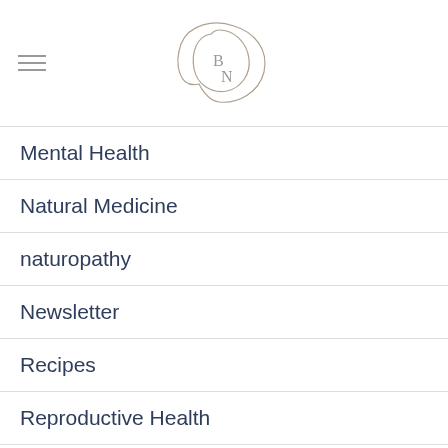[Figure (logo): BN logo with two overlapping hand-drawn organic/rounded shapes containing the letters B and N]
Mental Health
Natural Medicine
naturopathy
Newsletter
Recipes
Reproductive Health
Skin care